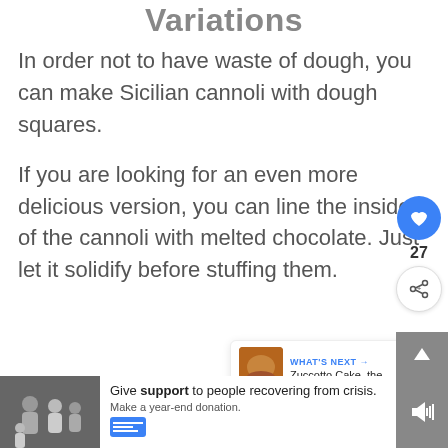Variations
In order not to have waste of dough, you can make Sicilian cannoli with dough squares.
If you are looking for an even more delicious version, you can line the inside of the cannoli with melted chocolate. Just let it solidify before stuffing them.
[Figure (other): Social sharing widget with heart/like button (27 likes) and share button]
[Figure (other): What's Next panel showing Zuccotto Cake thumbnail and label]
[Figure (other): Advertisement banner: family photo with text 'Give support to people recovering from crisis. Make a year-end donation.']